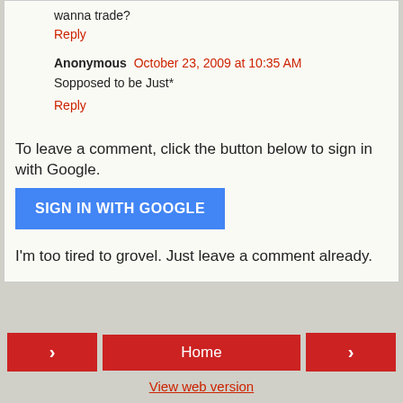wanna trade?
Reply
Anonymous  October 23, 2009 at 10:35 AM
Sopposed to be Just*
Reply
To leave a comment, click the button below to sign in with Google.
SIGN IN WITH GOOGLE
I'm too tired to grovel. Just leave a comment already.
< Home > View web version